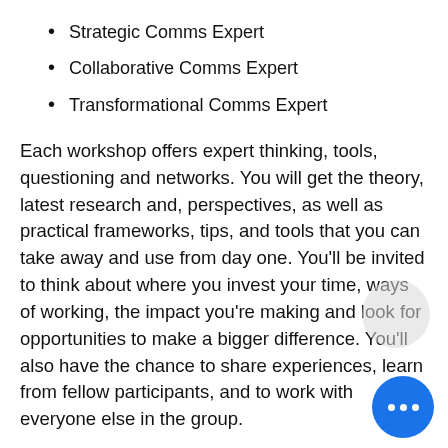Strategic Comms Expert
Collaborative Comms Expert
Transformational Comms Expert
Each workshop offers expert thinking, tools, questioning and networks. You will get the theory, latest research and, perspectives, as well as practical frameworks, tips, and tools that you can take away and use from day one. You'll be invited to think about where you invest your time, ways of working, the impact you're making and look for opportunities to make a bigger difference. You'll also have the chance to share experiences, learn from fellow participants, and to work with everyone else in the group.